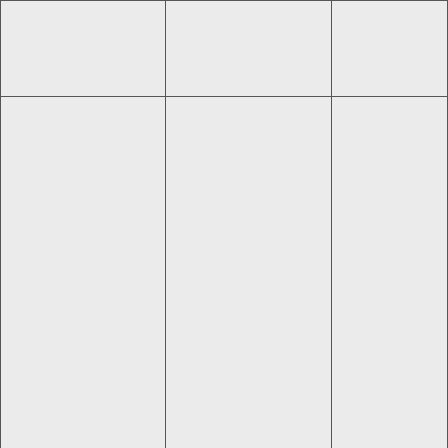|  |  |  |
| Cursor | app Numeric var | Spreadsh |